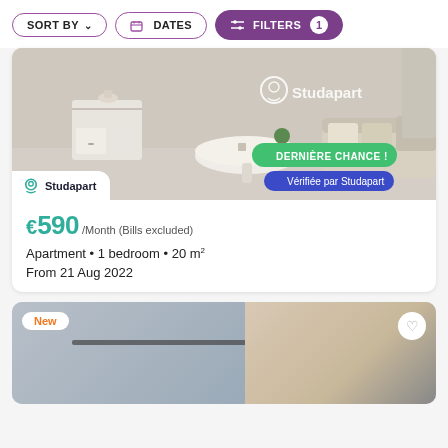SORT BY  DATES  FILTERS 1
[Figure (photo): Apartment interior photo showing white furniture, a round table, sofa with pillows. Studapart logo watermark. Badges: DERNIÈRE CHANCE! and Vérifiée par Studapart. Studapart tab at bottom-left.]
€590 /Month (Bills excluded)
Apartment · 1 bedroom · 20 m²
From 21 Aug 2022
[Figure (photo): Second listing photo showing a room with a wall-mounted bar/shelf. Badge: New (orange). Heart/favorite button (white circle) top right.]